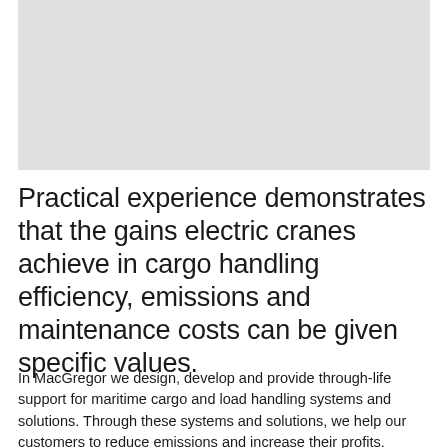[Figure (photo): Gray placeholder image area at top of page]
Practical experience demonstrates that the gains electric cranes achieve in cargo handling efficiency, emissions and maintenance costs can be given specific values.
In MacGregor we design, develop and provide through-life support for maritime cargo and load handling systems and solutions. Through these systems and solutions, we help our customers to reduce emissions and increase their profits.